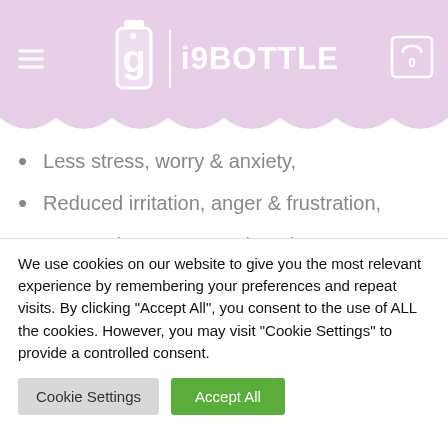i9BOTTLE
Less stress, worry & anxiety,
Reduced irritation, anger & frustration,
Greater inner peace & happiness,
Increased confidence & self-esteem,
Improved mental and physical well being.
We use cookies on our website to give you the most relevant experience by remembering your preferences and repeat visits. By clicking "Accept All", you consent to the use of ALL the cookies. However, you may visit "Cookie Settings" to provide a controlled consent.